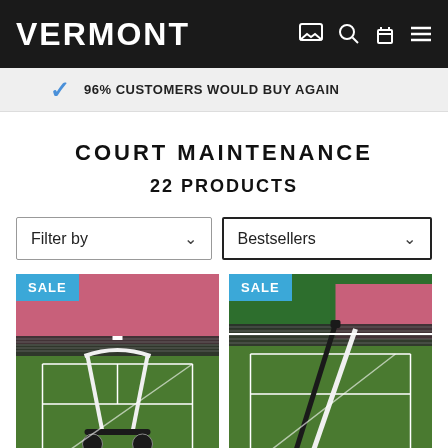VERMONT
96% CUSTOMERS WOULD BUY AGAIN
COURT MAINTENANCE
22 PRODUCTS
Filter by
Bestsellers
[Figure (photo): Tennis court net maintenance equipment with SALE badge]
[Figure (photo): Tennis court net with broom/squeegee maintenance tool with SALE badge]